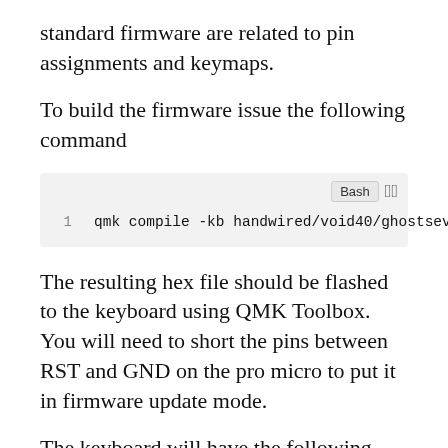standard firmware are related to pin assignments and keymaps.
To build the firmware issue the following command
qmk compile -kb handwired/void40/ghostseven -km ghosts
The resulting hex file should be flashed to the keyboard using QMK Toolbox. You will need to short the pins between RST and GND on the pro micro to put it in firmware update mode.
The keyboard will have the following layout if you used the above command